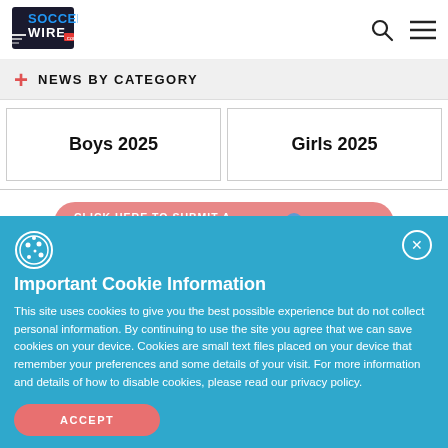[Figure (logo): SoccerWire.com logo with stylized text and soccer ball graphic]
NEWS BY CATEGORY
Boys 2025
Girls 2025
CLICK HERE TO SUBMIT A COLLEGE COMMITMENT
Important Cookie Information
This site uses cookies to give you the best possible experience but do not collect personal information. By continuing to use the site you agree that we can save cookies on your device. Cookies are small text files placed on your device that remember your preferences and some details of your visit. For more information and details of how to disable cookies, please read our privacy policy.
ACCEPT